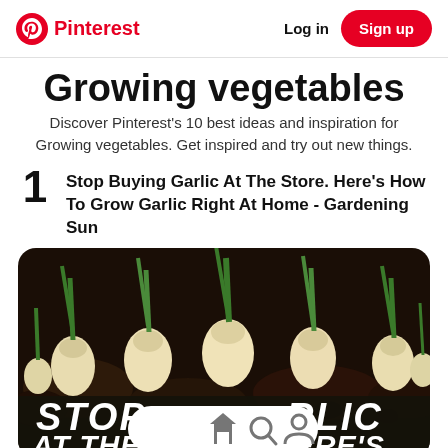Pinterest  Log in  Sign up
Growing vegetables
Discover Pinterest's 10 best ideas and inspiration for Growing vegetables. Get inspired and try out new things.
1  Stop Buying Garlic At The Store. Here's How To Grow Garlic Right At Home - Gardening Sun
[Figure (photo): Photo of garlic bulbs sprouting green shoots from dark soil, with overlaid text reading STOP GARLIC AT THE STORE HERE'S on a dark background. A navigation bar with home, search, and profile icons is overlaid at the bottom.]